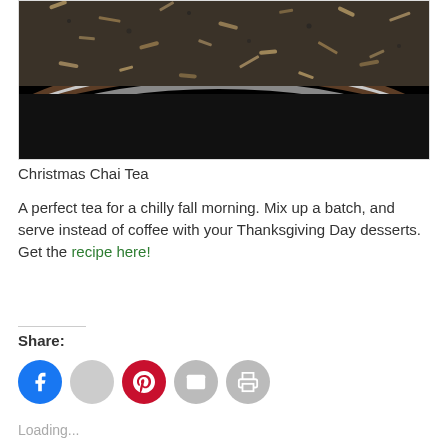[Figure (photo): Close-up photo of a bowl or tin containing loose-leaf tea or spice mix, showing the dark brown rim of the container with metallic silver stripe detail, against a black background]
Christmas Chai Tea
A perfect tea for a chilly fall morning. Mix up a batch, and serve instead of coffee with your Thanksgiving Day desserts. Get the recipe here!
Share:
Loading...